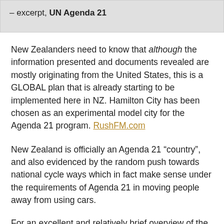– excerpt, UN Agenda 21
New Zealanders need to know that although the information presented and documents revealed are mostly originating from the United States, this is a GLOBAL plan that is already starting to be implemented here in NZ. Hamilton City has been chosen as an experimental model city for the Agenda 21 program. RushFM.com
New Zealand is officially an Agenda 21 “country”, and also evidenced by the random push towards national cycle ways which in fact make sense under the requirements of Agenda 21 in moving people away from using cars.
For an excellent and relatively brief overview of the impacts of Agenda 21 for you and some key signs of it’s implementation that you will recognise yourself once you are aware of them –